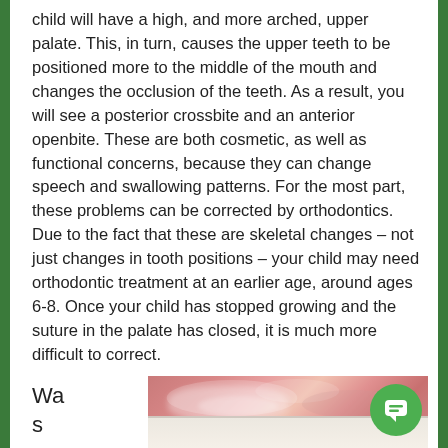child will have a high, and more arched, upper palate. This, in turn, causes the upper teeth to be positioned more to the middle of the mouth and changes the occlusion of the teeth. As a result, you will see a posterior crossbite and an anterior openbite. These are both cosmetic, as well as functional concerns, because they can change speech and swallowing patterns. For the most part, these problems can be corrected by orthodontics. Due to the fact that these are skeletal changes – not just changes in tooth positions – your child may need orthodontic treatment at an earlier age, around ages 6-8. Once your child has stopped growing and the suture in the palate has closed, it is much more difficult to correct.
Wa
s
yo
[Figure (photo): Close-up dental photograph showing teeth and gum tissue with visible dental details, pinkish-red gum tissue and white teeth at the bottom]